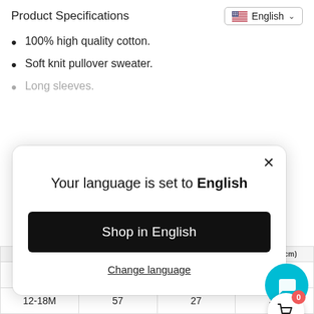Product Specifications
[Figure (screenshot): Language selector dropdown showing US flag and 'English' with chevron]
100% high quality cotton.
Soft knit pullover sweater.
Long sleeves.
[Figure (screenshot): Modal dialog: 'Your language is set to English' with 'Shop in English' button and 'Change language' link and close X button]
|  |  | LENGTH(cm) | LENGTH(cm) |
| --- | --- | --- | --- |
| 9-12M | 54 | 25 | 30 |
| 12-18M | 57 | 27 | 32 |